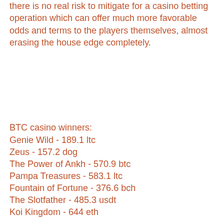there is no real risk to mitigate for a casino betting operation which can offer much more favorable odds and terms to the players themselves, almost erasing the house edge completely.
BTC casino winners:
Genie Wild - 189.1 ltc
Zeus - 157.2 dog
The Power of Ankh - 570.9 btc
Pampa Treasures - 583.1 ltc
Fountain of Fortune - 376.6 bch
The Slotfather - 485.3 usdt
Koi Kingdom - 644 eth
Wild Rapa Nui - 299.6 eth
Razortooth - 304.9 ltc
Myrtle the Witch - 46.2 btc
Good Girl Bad Girl - 271.5 dog
Ambiance - 298.4 dog
Grand Sumo - 464.4 ltc
Baseball - 131.3 eth